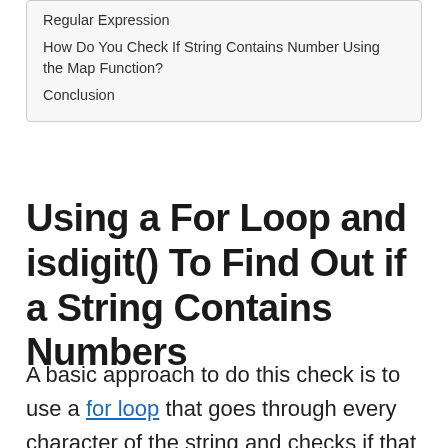Regular Expression
How Do You Check If String Contains Number Using the Map Function?
Conclusion
Using a For Loop and isdigit() To Find Out if a String Contains Numbers
A basic approach to do this check is to use a for loop that goes through every character of the string and checks if that character is a